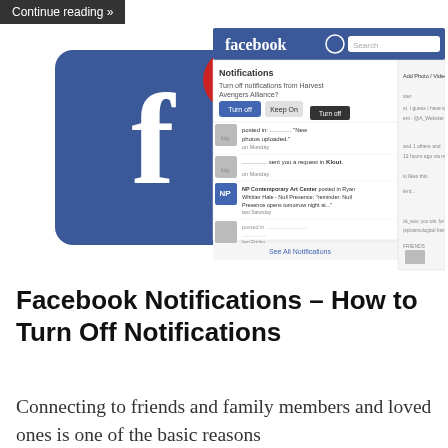Continue reading »
[Figure (screenshot): Facebook logo with a red notification badge showing '200', alongside a Facebook browser screenshot showing the Notifications dropdown panel with options to Turn off or Keep On notifications, listing several notification items including posts from NP Contemporary Art Center and others.]
Facebook Notifications – How to Turn Off Notifications
Connecting to friends and family members and loved ones is one of the basic reasons